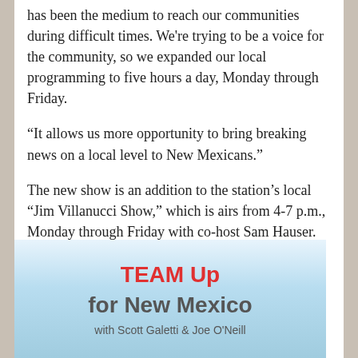has been the medium to reach our communities during difficult times. We're trying to be a voice for the community, so we expanded our local programming to five hours a day, Monday through Friday.
“It allows us more opportunity to bring breaking news on a local level to New Mexicans.”
The new show is an addition to the station’s local “Jim Villanucci Show,” which is airs from 4-7 p.m., Monday through Friday with co-host Sam Hauser.
[Figure (illustration): Banner graphic with sky background reading 'TEAM Up for New Mexico with Scott Galetti & Joe O'Neill']